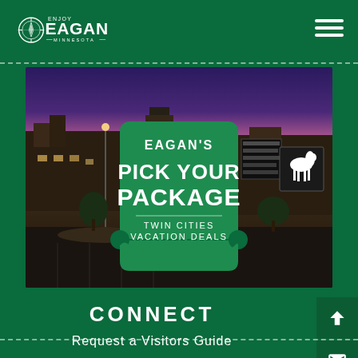Enjoy Eagan Minnesota - Navigation header with logo and hamburger menu
[Figure (screenshot): Nighttime photograph of an outdoor shopping mall/retail center with purple-pink twilight sky. A green ticket-shaped promotional badge overlaid in the center reads "EAGAN'S PICK YOUR PACKAGE TWIN CITIES VACATION DEALS"]
CONNECT
Request a Visitors Guide